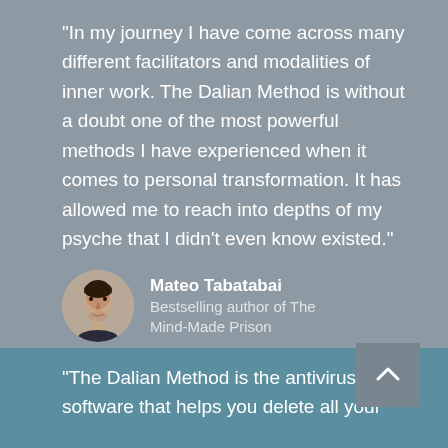"In my journey I have come across many different facilitators and modalities of inner work. The Dalian Method is without a doubt one of the most powerful methods I have experienced when it comes to personal transformation. It has allowed me to reach into depths of my psyche that I didn't even know existed."
[Figure (photo): Circular headshot portrait of Mateo Tabatabai]
Mateo Tabatabai
Bestselling author of The Mind-Made Prison
"The Dalian Method is the antivirus software that helps you delete all your